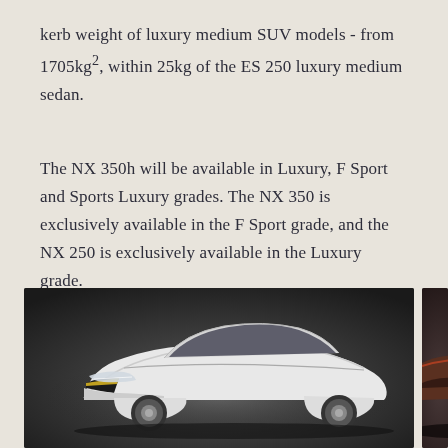kerb weight of luxury medium SUV models - from 1705kg², within 25kg of the ES 250 luxury medium sedan.
The NX 350h will be available in Luxury, F Sport and Sports Luxury grades. The NX 350 is exclusively available in the F Sport grade, and the NX 250 is exclusively available in the Luxury grade.
[Figure (photo): Two Lexus NX vehicles photographed against a dark background. Left image shows a white/silver Lexus NX from a front three-quarter angle. Right image is partially visible showing another Lexus NX model.]